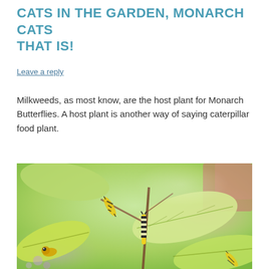CATS IN THE GARDEN, MONARCH CATS THAT IS!
Leave a reply
Milkweeds, as most know, are the host plant for Monarch Butterflies. A host plant is another way of saying caterpillar food plant.
[Figure (photo): Close-up photo of monarch caterpillars on milkweed plant with large green leaves, blurred garden background with purple flowers and red/pink structures.]